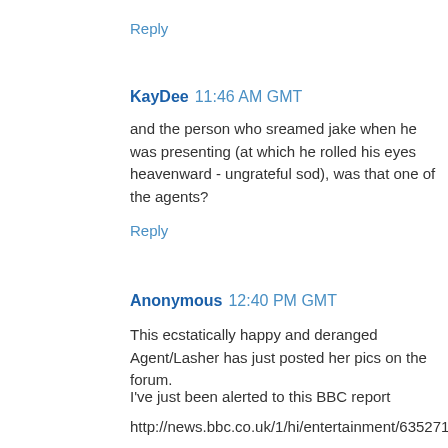Reply
KayDee  11:46 AM GMT
and the person who sreamed jake when he was presenting (at which he rolled his eyes heavenward - ungrateful sod), was that one of the agents?
Reply
Anonymous  12:40 PM GMT
This ecstatically happy and deranged Agent/Lasher has just posted her pics on the forum.
I've just been alerted to this BBC report
http://news.bbc.co.uk/1/hi/entertainment/6352719.stm
If you read down about a Trio of Women going for Our Boy, I will not deny it. That was us and I'm not jesting!!